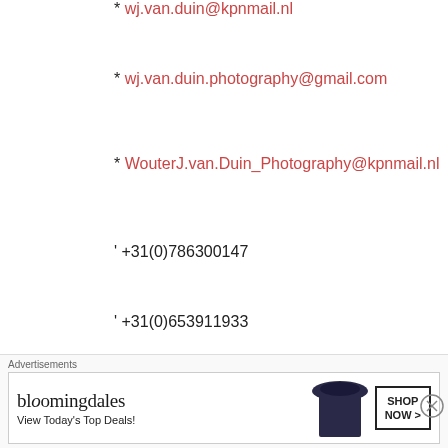* wj.van.duin@kpnmail.nl
* wj.van.duin.photography@gmail.com
* WouterJ.van.Duin_Photography@kpnmail.nl
' +31(0)786300147
' +31(0)653911933
Van: FUJI X WEEKLY Verzonden: woensdag 18 november 2020 22:18 Aan: wj.van.duin@planet.nl Onderwerp: [New post]
[Figure (other): Bloomingdale's advertisement banner: 'View Today's Top Deals!' with SHOP NOW > button]